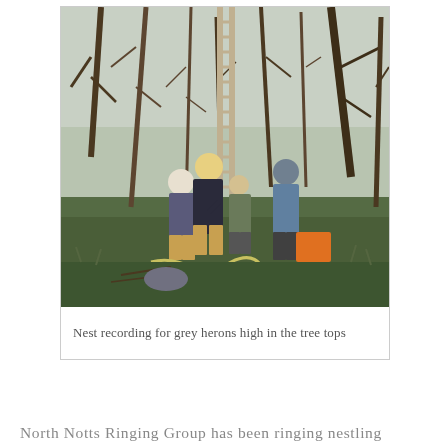[Figure (photo): Outdoor woodland scene showing several people in hard hats around a tall ladder leaning against bare winter trees. Equipment including ropes and an orange box are on the ground. The group appears to be conducting nest recording for grey herons high in the tree tops.]
Nest recording for grey herons high in the tree tops
North Notts Ringing Group has been ringing nestling